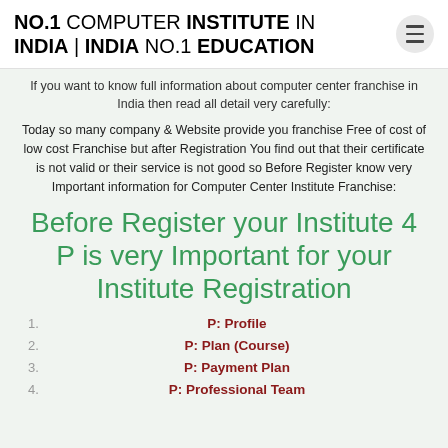NO.1 COMPUTER INSTITUTE IN INDIA | INDIA NO.1 EDUCATION
If you want to know full information about computer center franchise in India then read all detail very carefully:
Today so many company & Website provide you franchise Free of cost of low cost Franchise but after Registration You find out that their certificate is not valid or their service is not good so Before Register know very Important information for Computer Center Institute Franchise:
Before Register your Institute 4 P is very Important for your Institute Registration
P: Profile
P: Plan (Course)
P: Payment Plan
P: Professional Team